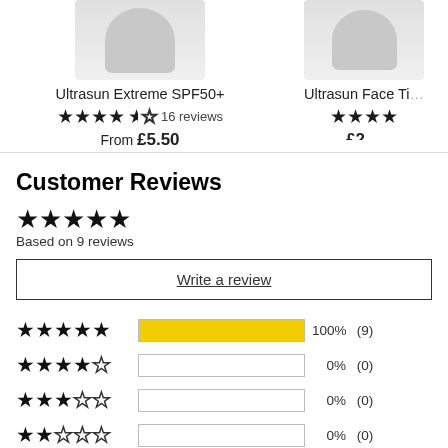Ultrasun Extreme SPF50+
★★★★½ 16 reviews
From £5.50
Ultrasun Face Ti…
★★★★
£2…
Customer Reviews
★★★★★
Based on 9 reviews
Write a review
[Figure (bar-chart): Rating distribution]